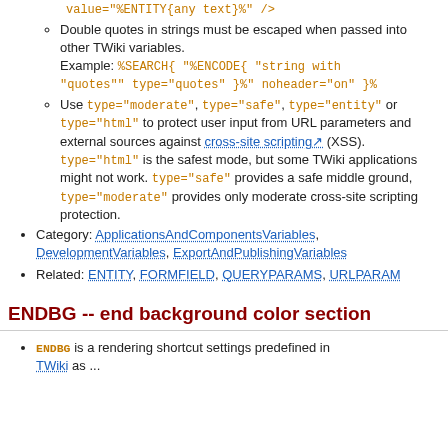Example: input type="text" name="url" value="%ENTITY{any text}%" />
Double quotes in strings must be escaped when passed into other TWiki variables. Example: %SEARCH{ "%ENCODE{ "string with "quotes"" type="quotes" }%" noheader="on" }%
Use type="moderate", type="safe", type="entity" or type="html" to protect user input from URL parameters and external sources against cross-site scripting (XSS). type="html" is the safest mode, but some TWiki applications might not work. type="safe" provides a safe middle ground, type="moderate" provides only moderate cross-site scripting protection.
Category: ApplicationsAndComponentsVariables, DevelopmentVariables, ExportAndPublishingVariables
Related: ENTITY, FORMFIELD, QUERYPARAMS, URLPARAM
ENDBG -- end background color section
ENDBG is a rendering shortcut settings predefined in TWiki...